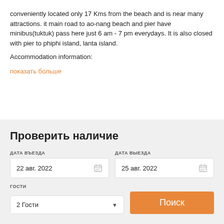conveniently located only 17 Kms from the beach and is near many attractions. it main road to ao-nang beach and pier have minibus(tuktuk) pass here just 6 am - 7 pm everydays. It is also closed with pier to phiphi island, lanta island.
Accommodation information:
показать больше
Проверить наличие
ДАТА ВЪЕЗДА
22 авг. 2022
ДАТА ВЫЕЗДА
25 авг. 2022
ГОСТИ
2 Гости
Поиск